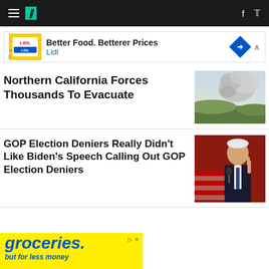HuffPost navigation bar
[Figure (screenshot): Lidl advertisement banner: Better Food. Betterer Prices - Lidl]
Northern California Forces Thousands To Evacuate
[Figure (photo): Aerial photo of wildfire smoke over Northern California landscape]
GOP Election Deniers Really Didn't Like Biden's Speech Calling Out GOP Election Deniers
[Figure (photo): Joe Biden speaking at podium with American flags in background]
[Figure (screenshot): Yellow grocery advertisement banner: groceries. but for less money]